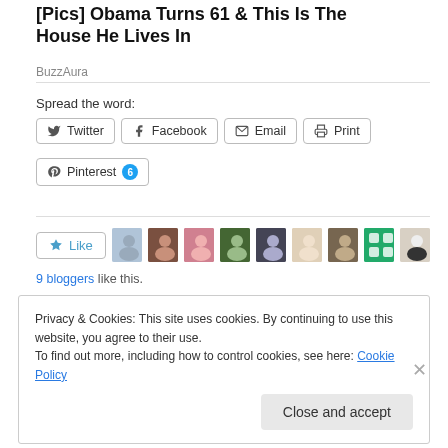[Pics] Obama Turns 61 & This Is The House He Lives In
BuzzAura
Spread the word:
Twitter  Facebook  Email  Print  Pinterest 6
[Figure (photo): Like button and 9 blogger avatar thumbnails]
9 bloggers like this.
Privacy & Cookies: This site uses cookies. By continuing to use this website, you agree to their use. To find out more, including how to control cookies, see here: Cookie Policy
Close and accept